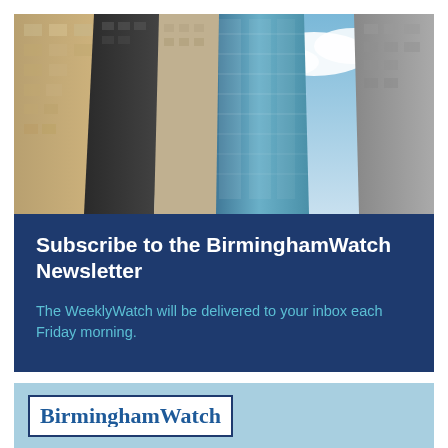[Figure (photo): Upward-looking photograph of tall city skyscrapers against a blue sky with white clouds]
Subscribe to the BirminghamWatch Newsletter
The WeeklyWatch will be delivered to your inbox each Friday morning.
[Figure (logo): BirminghamWatch logo in a white bordered box on a light blue background — text is partially visible/cut off]